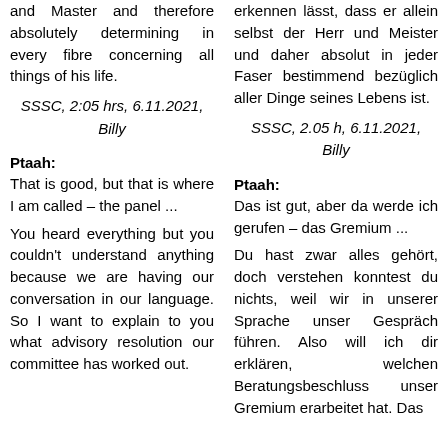and Master and therefore absolutely determining in every fibre concerning all things of his life.
erkennen lässt, dass er allein selbst der Herr und Meister und daher absolut in jeder Faser bestimmend bezüglich aller Dinge seines Lebens ist.
SSSC, 2:05 hrs, 6.11.2021, Billy
SSSC, 2.05 h, 6.11.2021, Billy
Ptaah:
Ptaah:
That is good, but that is where I am called – the panel ...
Das ist gut, aber da werde ich gerufen – das Gremium ...
You heard everything but you couldn't understand anything because we are having our conversation in our language. So I want to explain to you what advisory resolution our committee has worked out.
Du hast zwar alles gehört, doch verstehen konntest du nichts, weil wir in unserer Sprache unser Gespräch führen. Also will ich dir erklären, welchen Beratungsbeschluss unser Gremium erarbeitet hat. Das